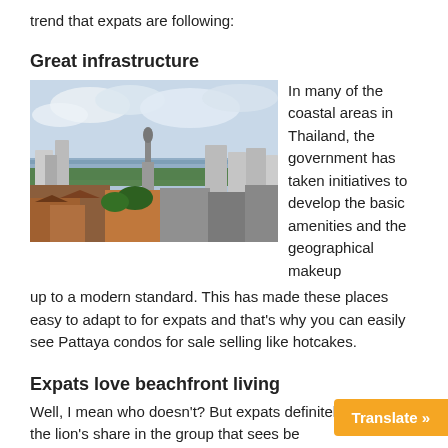trend that expats are following:
Great infrastructure
[Figure (photo): Aerial view of a coastal city in Thailand showing buildings, a tower, ocean in the background, and cloudy sky.]
In many of the coastal areas in Thailand, the government has taken initiatives to develop the basic amenities and the geographical makeup up to a modern standard. This has made these places easy to adapt to for expats and that's why you can easily see Pattaya condos for sale selling like hotcakes.
Expats love beachfront living
Well, I mean who doesn't? But expats definitely make up the lion's share in the group that sees be